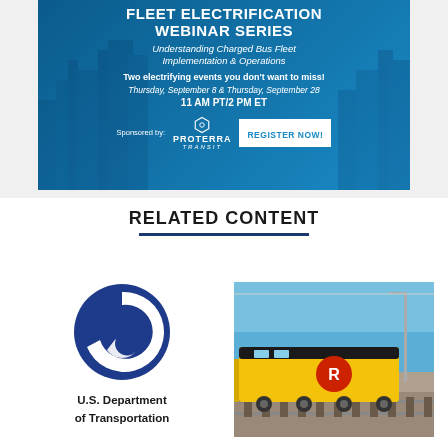[Figure (infographic): Fleet Electrification Webinar Series advertisement banner. Blue background with city imagery. Text: 'FLEET ELECTRIFICATION WEBINAR SERIES', 'Understanding Charged Bus Fleet Implementation & Operations', 'Two electrifying events you don't want to miss!', 'Thursday, September 8 & Thursday, September 28', '11 AM PT/2 PM ET'. Sponsored by Proterra Transit with a REGISTER NOW! button.]
RELATED CONTENT
[Figure (logo): U.S. Department of Transportation logo - blue circular swirl design]
U.S. Department of Transportation
[Figure (photo): Photo of a yellow and black locomotive/train with 'R' logo, traveling on tracks under a blue sky]